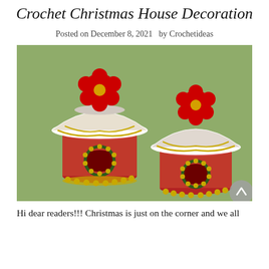Crochet Christmas House Decoration
Posted on December 8, 2021  by Crochetideas
[Figure (photo): Two crocheted Christmas house decorations on a green background. Each house is red with a white roof decorated with gold garland, a red poinsettia flower on top, and a small arched doorway surrounded by gold bells and greenery.]
Hi dear readers!!! Christmas is just on the corner and we all